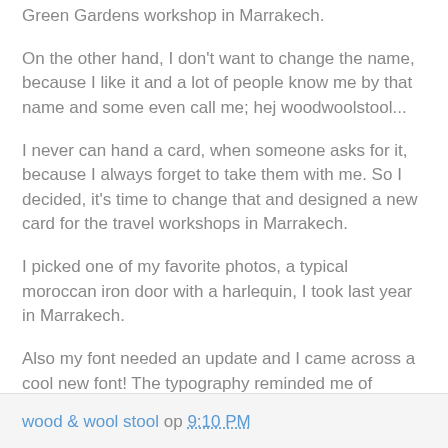Green Gardens workshop in Marrakech.
On the other hand, I don't want to change the name, because I like it and a lot of people know me by that name and some even call me; hej woodwoolstool...
I never can hand a card, when someone asks for it, because I always forget to take them with me. So I decided, it's time to change that and designed a new card for the travel workshops in Marrakech.
I picked one of my favorite photos, a typical moroccan iron door with a harlequin, I took last year in Marrakech.
Also my font needed an update and I came across a cool new font! The typography reminded me of handmade moroccan Zelliges tiles and to choose the right pure color was easy... Pure Marrakech!
wood & wool stool op 9:10 PM